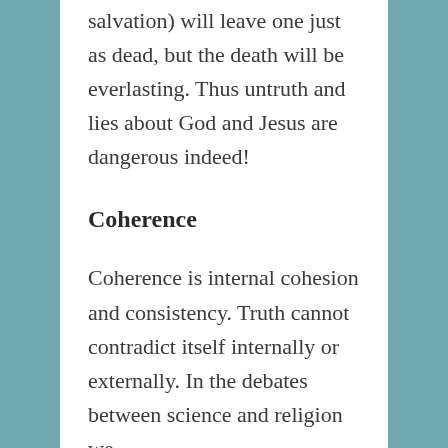salvation) will leave one just as dead, but the death will be everlasting. Thus untruth and lies about God and Jesus are dangerous indeed!
Coherence
Coherence is internal cohesion and consistency. Truth cannot contradict itself internally or externally. In the debates between science and religion we